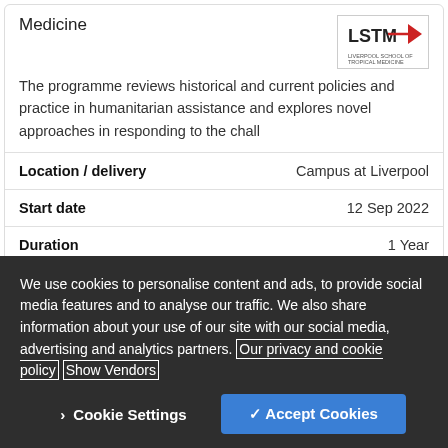Medicine
[Figure (logo): LSTM (Liverpool School of Tropical Medicine) logo with red arrow/triangle graphic]
The programme reviews historical and current policies and practice in humanitarian assistance and explores novel approaches in responding to the chall
| Location / delivery | Campus at Liverpool |
| Start date | 12 Sep 2022 |
| Duration | 1 Year |
| Price | Home fee: £10,250 - Overseas fee: £20,000 |
We use cookies to personalise content and ads, to provide social media features and to analyse our traffic. We also share information about your use of our site with our social media, advertising and analytics partners. Our privacy and cookie policy Show Vendors